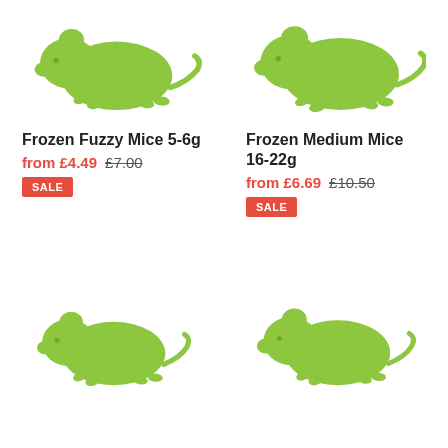[Figure (illustration): Green mouse/rat silhouette icon - product image for Frozen Fuzzy Mice 5-6g]
[Figure (illustration): Green mouse/rat silhouette icon - product image for Frozen Medium Mice 16-22g]
Frozen Fuzzy Mice 5-6g
from £4.49  £7.00  SALE
Frozen Medium Mice 16-22g
from £6.69  £10.50  SALE
[Figure (illustration): Green mouse/rat silhouette icon - product image (bottom left)]
[Figure (illustration): Green mouse/rat silhouette icon - product image (bottom right)]